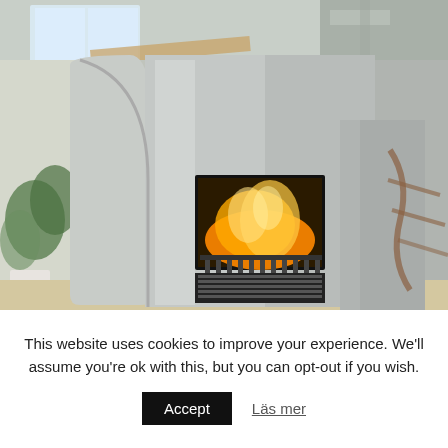[Figure (photo): Interior photograph of a modern living space featuring a large curved stainless steel fireplace insert with a visible flame, set against a concrete wall. The room has skylights, wooden beams, potted plants, and a spiral staircase visible in the background.]
This website uses cookies to improve your experience. We'll assume you're ok with this, but you can opt-out if you wish.
Accept
Läs mer